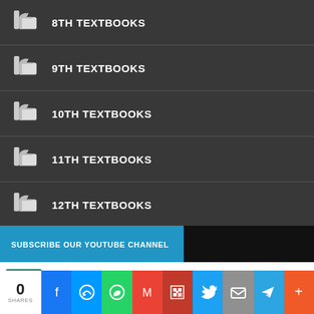8TH TEXTBOOKS
9TH TEXTBOOKS
10TH TEXTBOOKS
11TH TEXTBOOKS
12TH TEXTBOOKS
SUBSCRIBE OUR YOUTUBE CHANNEL
Tamilaruvi
YouTube 19K
0 SHARES